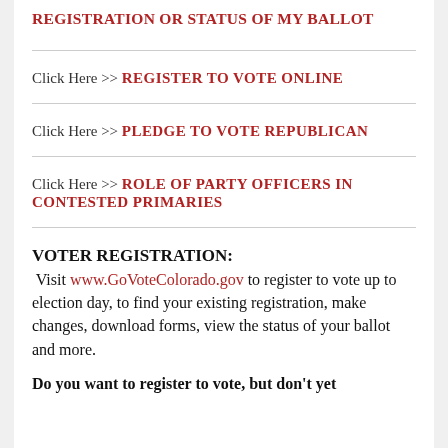REGISTRATION OR STATUS OF MY BALLOT
Click Here >>  REGISTER TO VOTE ONLINE
Click Here >> PLEDGE TO VOTE REPUBLICAN
Click Here >> ROLE OF PARTY OFFICERS IN CONTESTED PRIMARIES
VOTER REGISTRATION:
Visit www.GoVoteColorado.gov to register to vote up to election day, to find your existing registration, make changes, download forms, view the status of your ballot and more.
Do you want to register to vote, but don't yet